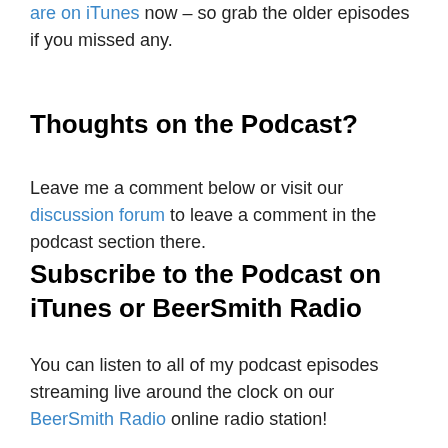are on iTunes now – so grab the older episodes if you missed any.
Thoughts on the Podcast?
Leave me a comment below or visit our discussion forum to leave a comment in the podcast section there.
Subscribe to the Podcast on iTunes or BeerSmith Radio
You can listen to all of my podcast episodes streaming live around the clock on our BeerSmith Radio online radio station! You can also subscribe to the audio or video using the iTunes links below, or the feed address
Audio feed on iTunes – Subscribe on iTunes
(direct: http://beersmith.com/content/feed/podcast)
Video feed on iTunes